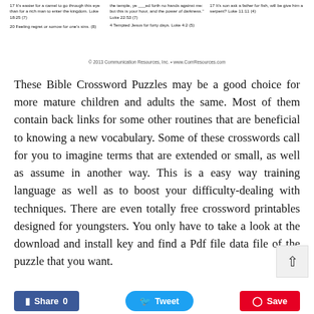17 It's easier for a camel to go through this eye than for a rich man to enter the kingdom. Luke 18:25 (7)
20 Feeling regret or sorrow for one's sins. (8)
...the temple, ye ___ed forth no hands against me: but this is your hour, and the power of darkness." Luke 22:53 (7)
4 Tempted Jesus for forty days. Luke 4:2 (5)
17 It's son ask a father for fish, will be give him a serpent? Luke 11:11 (4)
© 2013 Communication Resources, Inc. • www.ComResources.com
These Bible Crossword Puzzles may be a good choice for more mature children and adults the same. Most of them contain back links for some other routines that are beneficial to knowing a new vocabulary. Some of these crosswords call for you to imagine terms that are extended or small, as well as assume in another way. This is a easy way training language as well as to boost your difficulty-dealing with techniques. There are even totally free crossword printables designed for youngsters. You only have to take a look at the download and install key and find a Pdf file data file of the puzzle that you want.
[Figure (other): Facebook Share 0 button, Twitter Tweet button, Pinterest Save button]
[Figure (other): Scroll to top button with upward arrow]